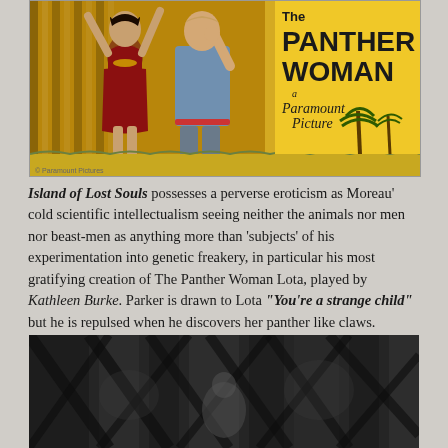[Figure (photo): Movie poster for 'The Panther Woman, a Paramount Picture' showing a woman in red costume with arms raised and a man in blue shirt, with vertical curtain stripes and yellow background with palm trees]
Island of Lost Souls possesses a perverse eroticism as Moreau' cold scientific intellectualism seeing neither the animals nor men nor beast-men as anything more than 'subjects' of his experimentation into genetic freakery, in particular his most gratifying creation of The Panther Woman Lota, played by Kathleen Burke. Parker is drawn to Lota "You're a strange child" but he is repulsed when he discovers her panther like claws.
[Figure (photo): Black and white still from film showing a dark scene with figures in a shadowy setting with lattice or bars visible]